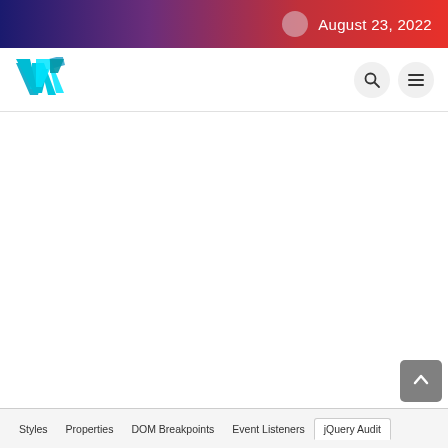August 23, 2022
[Figure (logo): Stylized blue 'W' logo for a website header]
[Figure (other): Search icon button (magnifying glass) in circular grey button]
[Figure (other): Menu icon button (hamburger/three lines) in circular grey button]
[Figure (screenshot): Main white content area of the webpage, mostly blank]
[Figure (other): Scroll-to-top button, grey rounded square with upward chevron arrow]
Styles   Properties   DOM Breakpoints   Event Listeners   jQuery Audit